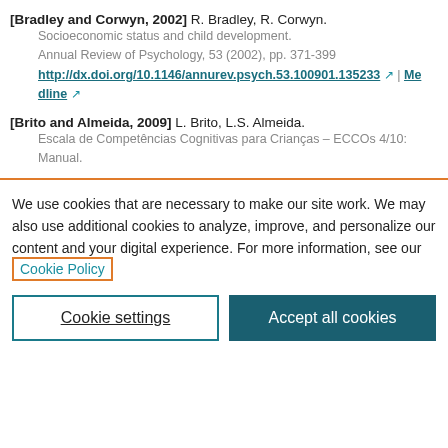[Bradley and Corwyn, 2002] R. Bradley, R. Corwyn. Socioeconomic status and child development. Annual Review of Psychology, 53 (2002), pp. 371-399 http://dx.doi.org/10.1146/annurev.psych.53.100901.135233 | Medline
[Brito and Almeida, 2009] L. Brito, L.S. Almeida. Escala de Competências Cognitivas para Crianças – ECCOs 4/10: Manual.
We use cookies that are necessary to make our site work. We may also use additional cookies to analyze, improve, and personalize our content and your digital experience. For more information, see our Cookie Policy
Cookie settings | Accept all cookies